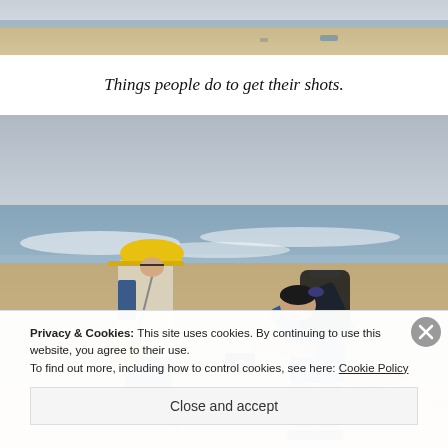[Figure (photo): Top strip of a sandy beach with ocean and sky visible, some debris on the sand]
Things people do to get their shots.
[Figure (photo): Two people on a beach: one wearing a yellow hard hat and beige jacket carrying a blue container, another person in blue shirt and shorts bending forward taking a photo with a camera, backpack on their back. Cloudy sky and ocean waves in background.]
Privacy & Cookies: This site uses cookies. By continuing to use this website, you agree to their use.
To find out more, including how to control cookies, see here: Cookie Policy
Close and accept